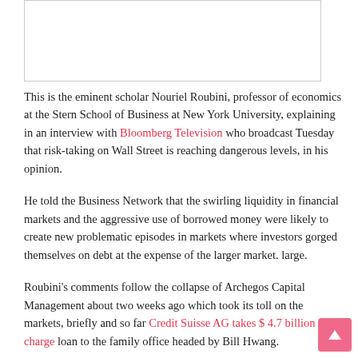[Figure (photo): Placeholder image box with border at top of page]
This is the eminent scholar Nouriel Roubini, professor of economics at the Stern School of Business at New York University, explaining in an interview with Bloomberg Television who broadcast Tuesday that risk-taking on Wall Street is reaching dangerous levels, in his opinion.
He told the Business Network that the swirling liquidity in financial markets and the aggressive use of borrowed money were likely to create new problematic episodes in markets where investors gorged themselves on debt at the expense of the larger market. large.
Roubini's comments follow the collapse of Archegos Capital Management about two weeks ago which took its toll on the markets, briefly and so far Credit Suisse AG takes $ 4.7 billion charge loan to the family office headed by Bill Hwang.